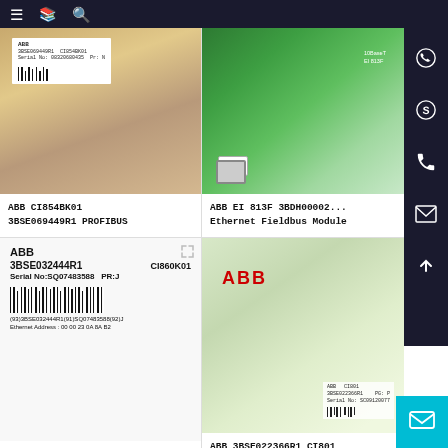Navigation bar with menu, bookmark, and search icons
[Figure (photo): ABB CI854BK01 product box with barcode label showing 3BSE069449R1]
ABB CI854BK01 3BSE069449R1 PROFIBUS
[Figure (photo): ABB EI 813F circuit board showing green PCB with Ethernet port, labeled 10BaseT EI 813F]
ABB EI 813F 3BDH00002... Ethernet Fieldbus Module
[Figure (photo): ABB 3BSE032444R1 CI860K01 product label showing Serial No: SQ07483588, PR:J, barcode, Ethernet Address 00:00:23:0A:8A:B2]
ABB 3BSE032444R1 CI860K01 Serial No:SQ07483588 PR:J
[Figure (photo): ABB box with red ABB logo and label showing 3BSE022366R1, CI801, Serial No: SC09120077]
ABB 3BSE022366R1 CI801